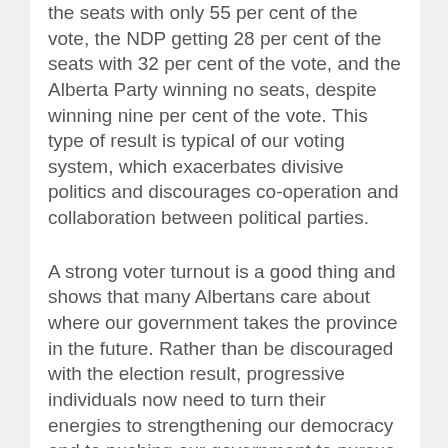the seats with only 55 per cent of the vote, the NDP getting 28 per cent of the seats with 32 per cent of the vote, and the Alberta Party winning no seats, despite winning nine per cent of the vote. This type of result is typical of our voting system, which exacerbates divisive politics and discourages co-operation and collaboration between political parties.
A strong voter turnout is a good thing and shows that many Albertans care about where our government takes the province in the future. Rather than be discouraged with the election result, progressive individuals now need to turn their energies to strengthening our democracy and to pushing our government to pursue directions that are in the public interest over the next four...